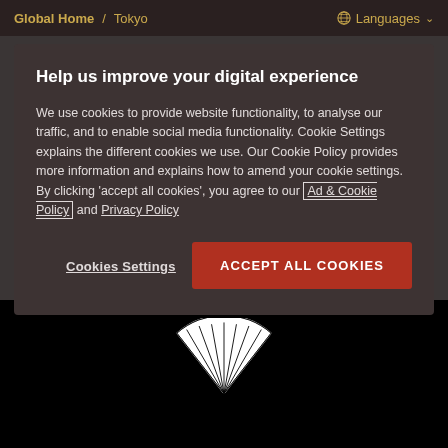Global Home / Tokyo   ⊕ Languages
Help us improve your digital experience
We use cookies to provide website functionality, to analyse our traffic, and to enable social media functionality. Cookie Settings explains the different cookies we use. Our Cookie Policy provides more information and explains how to amend your cookie settings. By clicking 'accept all cookies', you agree to our Ad & Cookie Policy and Privacy Policy
Cookies Settings   ACCEPT ALL COOKIES
View Details >
[Figure (logo): White fan/accordion logo on black background]